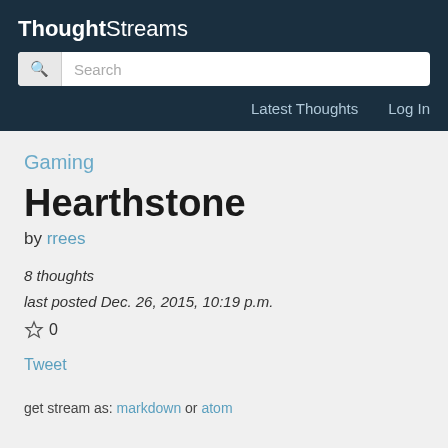ThoughtStreams
Search
Latest Thoughts   Log In
Gaming
Hearthstone
by rrees
8 thoughts
last posted Dec. 26, 2015, 10:19 p.m.
☆ 0
Tweet
get stream as: markdown or atom